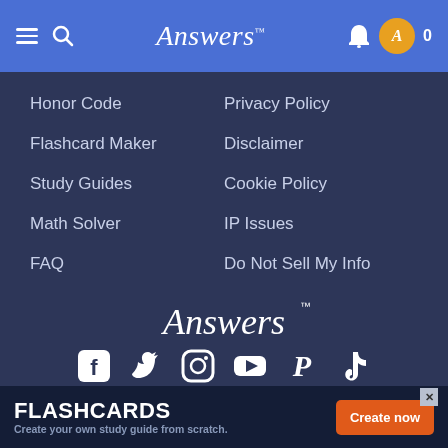Answers
Honor Code
Privacy Policy
Flashcard Maker
Disclaimer
Study Guides
Cookie Policy
Math Solver
IP Issues
FAQ
Do Not Sell My Info
[Figure (logo): Answers logo in footer]
[Figure (infographic): Social media icons: Facebook, Twitter, Instagram, YouTube, Pinterest, TikTok]
Made with ♥ in St. Louis
Copyright ©2022 System1, LLC. All Rights Reserved. The material on this
[Figure (infographic): FLASHCARDS advertisement banner - Create your own study guide from scratch. Create now button.]